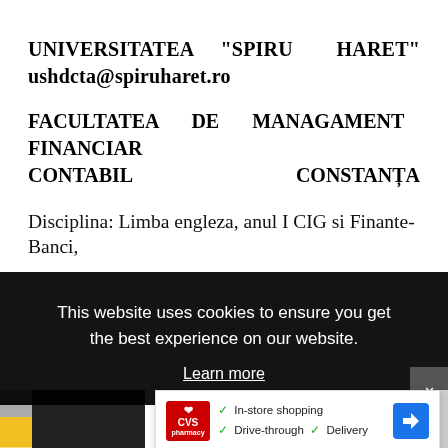UNIVERSITATEA "SPIRU HARET" ushdcta@spiruharet.ro
FACULTATEA DE MANAGAMENT FINANCIAR CONTABIL CONSTANȚA
Disciplina: Limba engleza, anul I CIG si Finante-Banci,
[Figure (screenshot): Cookie consent banner overlay with dark background reading 'This website uses cookies to ensure you get the best experience on our website. Learn more', with a CVS pharmacy advertisement below showing in-store shopping, drive-through, and delivery options.]